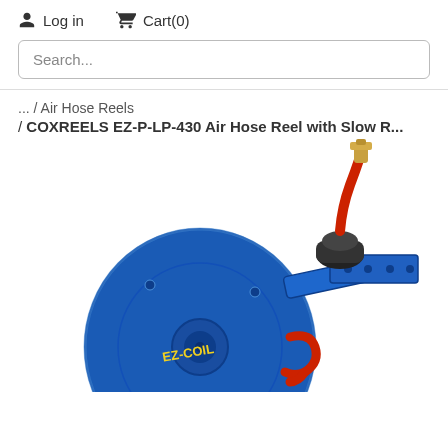Log in   Cart(0)
Search...
... / Air Hose Reels / COXREELS EZ-P-LP-430 Air Hose Reel with Slow R...
[Figure (photo): Blue COXREELS EZ-Coil air hose reel with a red hose and brass fitting, mounted on a bracket, photographed on white background.]